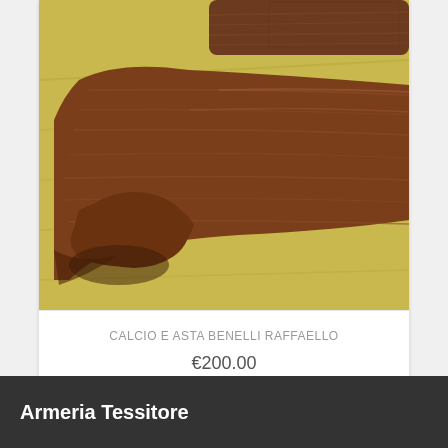[Figure (photo): Close-up photograph of a wooden rifle stock and forestock (calcio e asta) for a Benelli Raffaello shotgun, showing rich brown walnut wood grain, placed on a yellowish surface.]
CALCIO E ASTA BENELLI RAFFAELLO
€200.00
Armeria Tessitore